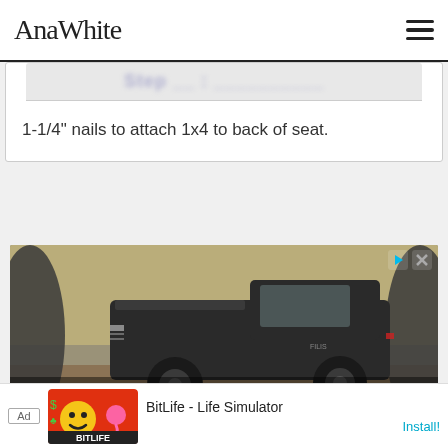Ana White
1-1/4" nails to attach 1x4 to back of seat.
[Figure (photo): Advertisement showing a dark-colored Atlis XT electric pickup truck parked in a rocky/dirt environment, with text overlay 'Our Atlis XT Aims to Be a Category-Defining Work...' and ad control buttons (play and close) in top right corner.]
[Figure (screenshot): Bottom banner ad: Ad badge on left, BitLife Life Simulator app icon (red/orange background with emoji), text 'BitLife - Life Simulator' and 'Install!' link in blue/cyan.]